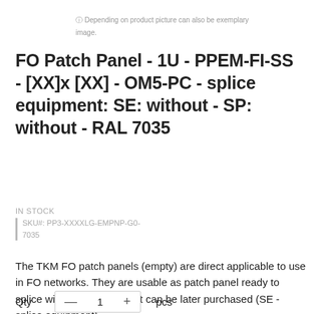ⓘ Depending on product picture can also be exemplary image.
FO Patch Panel - 1U - PPEM-FI-SS - [XX]x [XX] - OM5-PC - splice equipment: SE: without - SP: without - RAL 7035
IN STOCK
| SKU#: PP3-XXXXLG-EMPNP-G0-7035
The TKM FO patch panels (empty) are direct applicable to use in FO networks. They are usable as patch panel ready to splice with accessories that can be later purchased (SE - splice equipment).
Qty   — 1 +   pcs